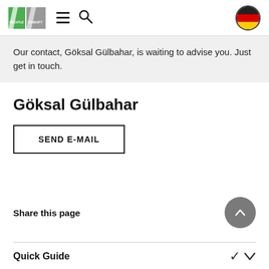Rechtle Consoft logo, hamburger menu, search icon, German flag
Our contact, Göksal Gülbahar, is waiting to advise you. Just get in touch.
Göksal Gülbahar
SEND E-MAIL
Share this page
Quick Guide